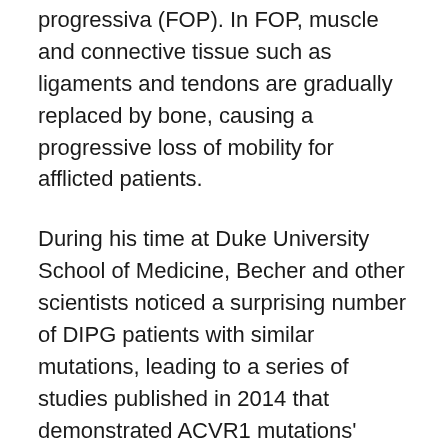progressiva (FOP). In FOP, muscle and connective tissue such as ligaments and tendons are gradually replaced by bone, causing a progressive loss of mobility for afflicted patients.
During his time at Duke University School of Medicine, Becher and other scientists noticed a surprising number of DIPG patients with similar mutations, leading to a series of studies published in 2014 that demonstrated ACVR1 mutations' importance in the development of DIPG.
DIPG is a particularly deadly childhood brain tumor, comprising 20 percent of all pediatric brain cancers, and is among the most notoriously difficult to treat.